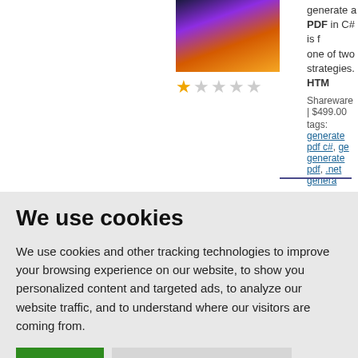[Figure (screenshot): Partial product listing showing a software product image thumbnail, star rating (1 out of 5 stars), price Shareware | $499.00, tags: generate pdf c#, ge..., generate pdf, .net genera..., and truncated description text about generating a PDF in C# using one of two strategies. HTML...]
We use cookies
We use cookies and other tracking technologies to improve your browsing experience on our website, to show you personalized content and targeted ads, to analyze our website traffic, and to understand where our visitors are coming from.
I agree
Change my preferences